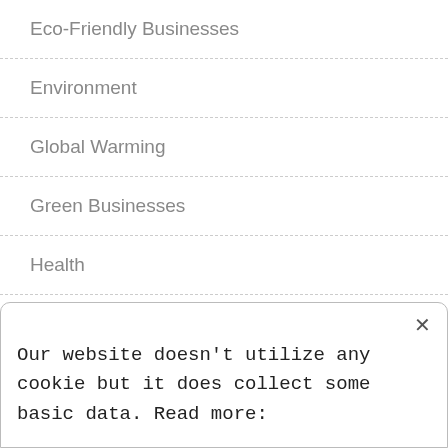Eco-Friendly Businesses
Environment
Global Warming
Green Businesses
Health
Home
Nature
Society
Technology
Our website doesn't utilize any cookie but it does collect some basic data. Read more: